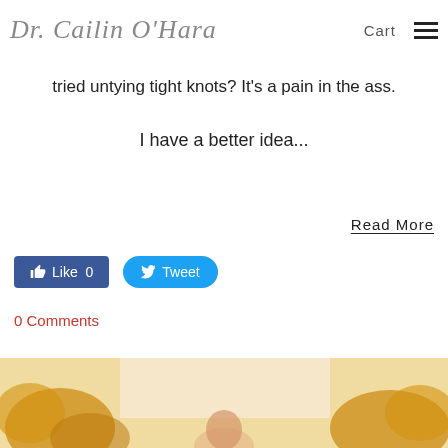Dr. Cailin O'Hara | Cart
tried untying tight knots? It's a pain in the ass.
I have a better idea...
Read More
[Figure (screenshot): Facebook Like button (0 likes) and Twitter Tweet button]
0 Comments
[Figure (photo): Partial photo of a woman with long hair outdoors among golden foliage]